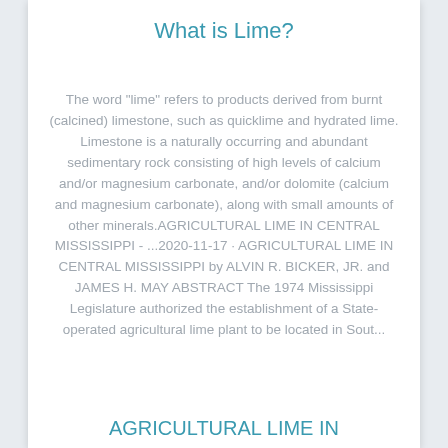What is Lime?
The word "lime" refers to products derived from burnt (calcined) limestone, such as quicklime and hydrated lime. Limestone is a naturally occurring and abundant sedimentary rock consisting of high levels of calcium and/or magnesium carbonate, and/or dolomite (calcium and magnesium carbonate), along with small amounts of other minerals.AGRICULTURAL LIME IN CENTRAL MISSISSIPPI - ...2020-11-17 · AGRICULTURAL LIME IN CENTRAL MISSISSIPPI by ALVIN R. BICKER, JR. and JAMES H. MAY ABSTRACT The 1974 Mississippi Legislature authorized the establishment of a State-operated agricultural lime plant to be located in Sout...
AGRICULTURAL LIME IN